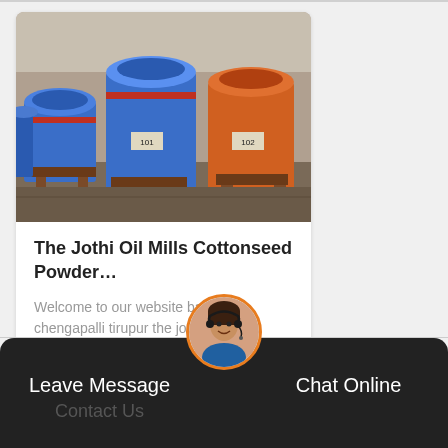[Figure (photo): Industrial oil press machines in blue and orange colors inside a factory warehouse]
The Jothi Oil Mills Cottonseed Powder…
Welcome to our website based in chengapalli tirupur the jo…
GET PRICE
[Figure (photo): Customer service representative avatar with headset]
Leave Message
Chat Online
Contact Us